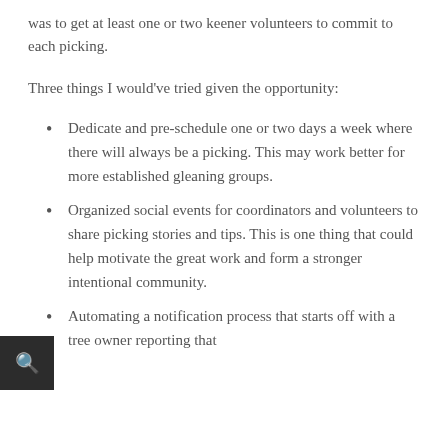was to get at least one or two keener volunteers to commit to each picking.
Three things I would've tried given the opportunity:
Dedicate and pre-schedule one or two days a week where there will always be a picking. This may work better for more established gleaning groups.
Organized social events for coordinators and volunteers to share picking stories and tips. This is one thing that could help motivate the great work and form a stronger intentional community.
Automating a notification process that starts off with a tree owner reporting that their tree is ready for picking to scheduling the...